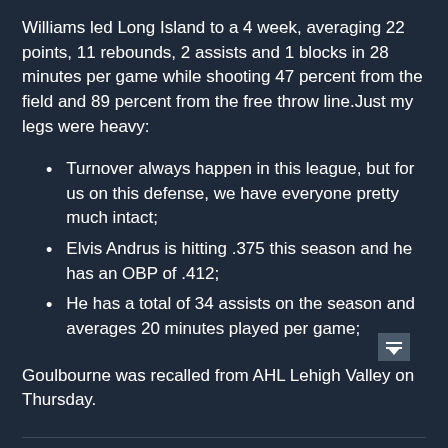Williams led Long Island to a 4 week, averaging 22 points, 11 rebounds, 2 assists and 1 blocks in 28 minutes per game while shooting 47 percent from the field and 89 percent from the free throw line.Just my legs were heavy:
Turnover always happen in this league, but for us on this defense, we have everyone pretty much intact;
Elvis Andrus is hitting .375 this season and he has an OBP of .412;
He has a total of 34 assists on the season and averages 20 minutes played per game;
Goulbourne was recalled from AHL Lehigh Valley on Thursday.
Police arrested Ezekiel Hicks, 25, on murder charges...